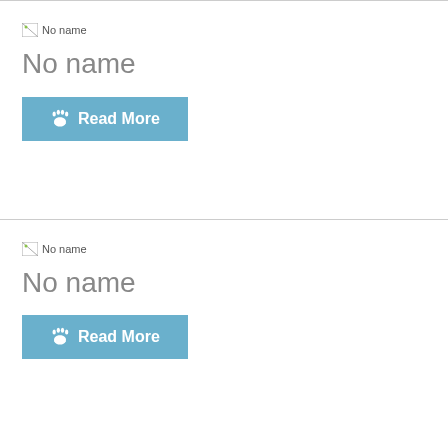[Figure (other): Broken image placeholder with alt text 'No name' - first card]
No name
Read More
[Figure (other): Broken image placeholder with alt text 'No name' - second card]
No name
Read More